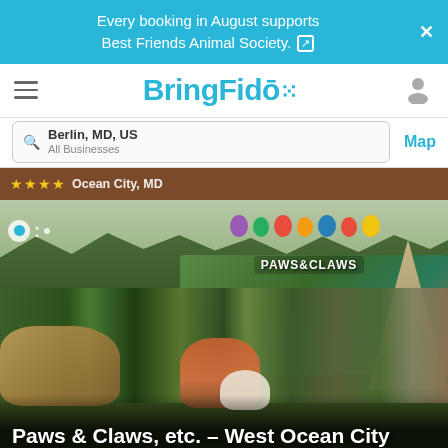Every booking in August supports Best Friends Animal Society.
BringFido
Berlin, MD, US
All Businesses
Map
Ocean City, MD
[Figure (photo): Group of people in green St. Patrick's Day attire posing in front of a 'Paws & Claws' parade float decorated with colorful balloons. A small pony is visible on the left side and dogs are present.]
Paws & Claws, etc. – West Ocean City